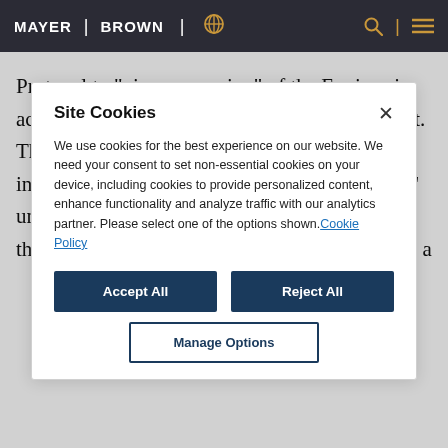MAYER | BROWN | [globe icon] [search icon] | [menu icon]
Protocol to "give possession" of the Engines in accordance with the underlying lease agreement. The Lessor had argued that this was either inherent in the requirement to "give possession" under Article XI(2) or arises in performance of that obligation as an aspect of Article IX(3) that a
Site Cookies
We use cookies for the best experience on our website. We need your consent to set non-essential cookies on your device, including cookies to provide personalized content, enhance functionality and analyze traffic with our analytics partner. Please select one of the options shown. Cookie Policy
Accept All
Reject All
Manage Options